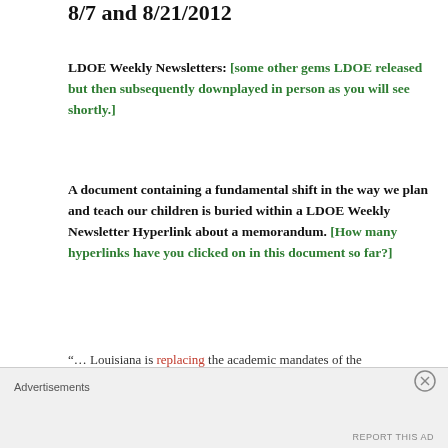8/7 and 8/21/2012
LDOE Weekly Newsletters: [some other gems LDOE released but then subsequently downplayed in person as you will see shortly.]
A document containing a fundamental shift in the way we plan and teach our children is buried within a LDOE Weekly Newsletter Hyperlink about a memorandum. [How many hyperlinks have you clicked on in this document so far?]
“… Louisiana is replacing the academic mandates of the comprehensive curriculum and textbook adoption process with academic tools such as rubrics, assessments and
Advertisements